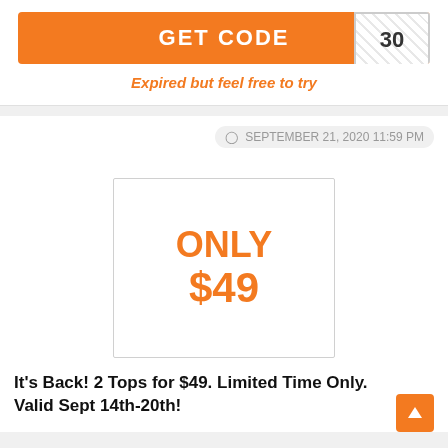GET CODE | 30
Expired but feel free to try
SEPTEMBER 21, 2020 11:59 PM
[Figure (infographic): Offer box showing ONLY $49]
It's Back! 2 Tops for $49. Limited Time Only. Valid Sept 14th-20th!